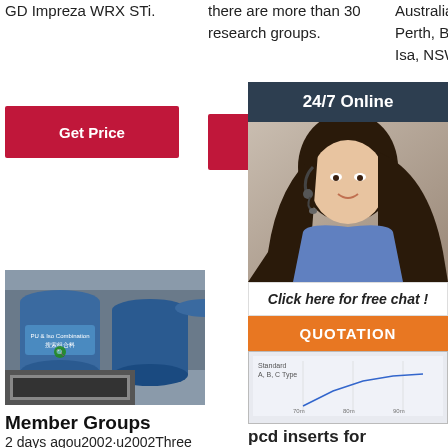GD Impreza WRX STi.
there are more than 30 research groups.
Australian-wide locations in Perth, Brisbane, Kalgoorlie, Mt Isa, NSW Adelaide,
[Figure (other): Red 'Get Price' button]
[Figure (other): Red 'Get Price' button]
[Figure (other): Red 'Get Price' button (partially hidden)]
[Figure (other): 24/7 Online chat overlay with agent photo, 'Click here for free chat!' text, QUOTATION button, and partial chart image]
[Figure (photo): Blue industrial drums and black frame/panel product photo]
Member Groups
2 days agou2002·u2002Three multi-investigator
[Figure (logo): Full top surface milling PCD inserts TOP logo with orange dots]
full top surface milling pcd inserts for